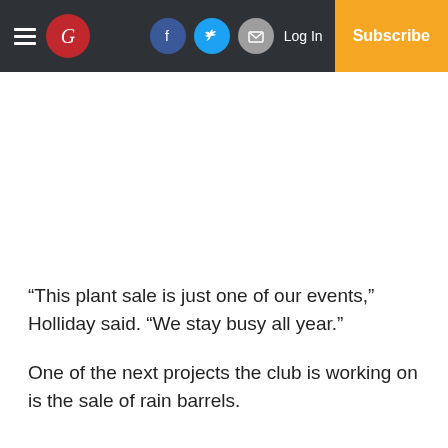Navigation bar with hamburger menu, G logo, Facebook, Twitter, Email icons, Log In, Subscribe
“This plant sale is just one of our events,” Holliday said. “We stay busy all year.”
One of the next projects the club is working on is the sale of rain barrels.